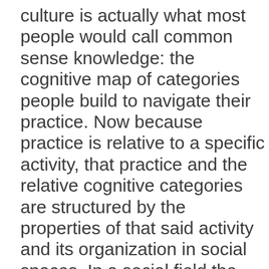culture is actually what most people would call common sense knowledge: the cognitive map of categories people build to navigate their practice. Now because practice is relative to a specific activity, that practice and the relative cognitive categories are structured by the properties of that said activity and its organization in social spaces. In a social field the people who have the most power (through different forms of capital: be it cultural, symbolic, social or economic) are better situated to define the parameters of that said